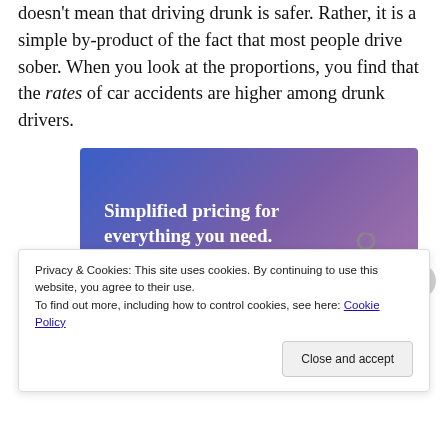doesn't mean that driving drunk is safer. Rather, it is a simple by-product of the fact that most people drive sober. When you look at the proportions, you find that the rates of car accidents are higher among drunk drivers.
[Figure (illustration): Advertisement banner with gradient blue-purple background showing 'Simplified pricing for everything you need.' with a pink 'Build Your Website' button and a tan price tag graphic]
Privacy & Cookies: This site uses cookies. By continuing to use this website, you agree to their use.
To find out more, including how to control cookies, see here: Cookie Policy
Close and accept